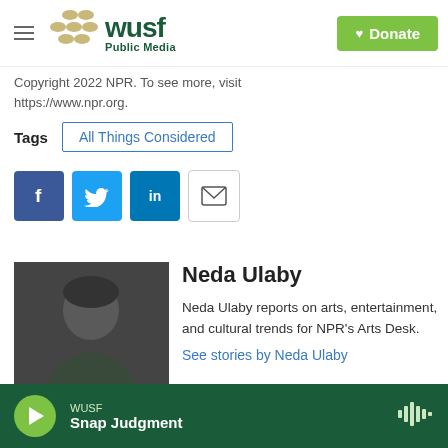WUSF Public Media | Donate
Copyright 2022 NPR. To see more, visit https://www.npr.org.
Tags: All Things Considered
[Figure (other): Social sharing buttons: Facebook, Twitter, LinkedIn, Email]
[Figure (photo): Portrait photo of Neda Ulaby seated in a chair]
Neda Ulaby
Neda Ulaby reports on arts, entertainment, and cultural trends for NPR's Arts Desk.
See stories by Neda Ulaby
WUSF Snap Judgment